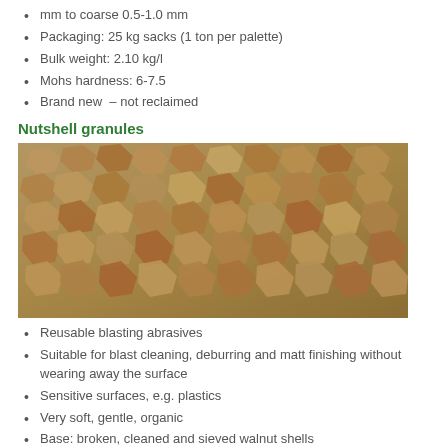mm to coarse 0.5-1.0 mm
Packaging: 25 kg sacks (1 ton per palette)
Bulk weight: 2.10 kg/l
Mohs hardness: 6-7.5
Brand new – not reclaimed
Nutshell granules
[Figure (photo): Close-up photograph of nutshell granules – broken, cleaned and sieved walnut shells in various irregular shapes, beige/tan/brown colors.]
Reusable blasting abrasives
Suitable for blast cleaning, deburring and matt finishing without wearing away the surface
Sensitive surfaces, e.g. plastics
Very soft, gentle, organic
Base: broken, cleaned and sieved walnut shells